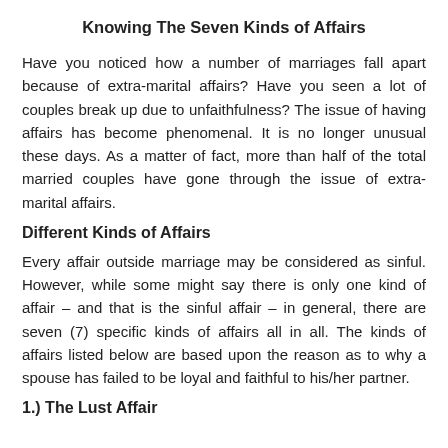Knowing The Seven Kinds of Affairs
Have you noticed how a number of marriages fall apart because of extra-marital affairs? Have you seen a lot of couples break up due to unfaithfulness? The issue of having affairs has become phenomenal. It is no longer unusual these days. As a matter of fact, more than half of the total married couples have gone through the issue of extra-marital affairs.
Different Kinds of Affairs
Every affair outside marriage may be considered as sinful. However, while some might say there is only one kind of affair – and that is the sinful affair – in general, there are seven (7) specific kinds of affairs all in all. The kinds of affairs listed below are based upon the reason as to why a spouse has failed to be loyal and faithful to his/her partner.
1.) The Lust Affair